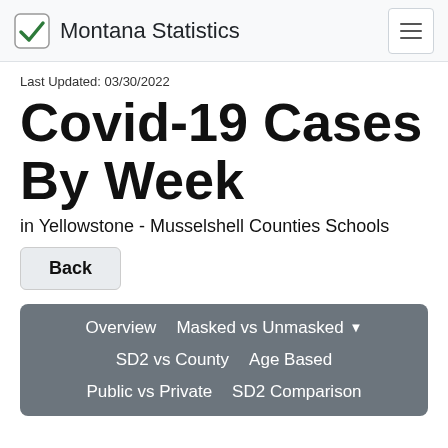Montana Statistics
Last Updated: 03/30/2022
Covid-19 Cases By Week
in Yellowstone - Musselshell Counties Schools
Back
Overview | Masked vs Unmasked | SD2 vs County | Age Based | Public vs Private | SD2 Comparison